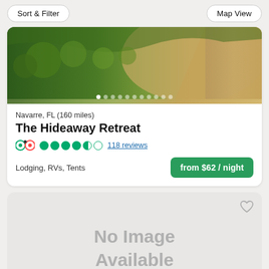Sort & Filter | Map View
[Figure (photo): Aerial view of forest/trees and a sandy road/beach, used as a listing photo for The Hideaway Retreat campground]
Navarre, FL (160 miles)
The Hideaway Retreat
TripAdvisor rating: 4.5 stars — 118 reviews
Lodging, RVs, Tents
from $62 / night
[Figure (photo): No Image Available placeholder card for a second listing]